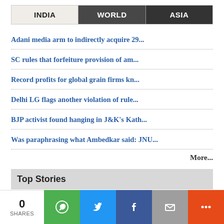| INDIA | WORLD | ASIA |
| --- | --- | --- |
Adani media arm to indirectly acquire 29...
SC rules that forfeiture provision of am...
Record profits for global grain firms kn...
Delhi LG flags another violation of rule...
BJP activist found hanging in J&K's Kath...
Was paraphrasing what Ambedkar said: JNU...
More...
Top Stories
Rupee ends flat at 79.86 against US...
0 SHARES